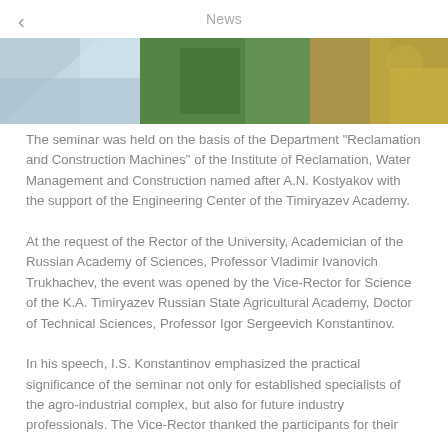News
[Figure (photo): Cropped photo strip showing agricultural/outdoor scene with blue and green tones]
The seminar was held on the basis of the Department "Reclamation and Construction Machines" of the Institute of Reclamation, Water Management and Construction named after A.N. Kostyakov with the support of the Engineering Center of the Timiryazev Academy.
At the request of the Rector of the University, Academician of the Russian Academy of Sciences, Professor Vladimir Ivanovich Trukhachev, the event was opened by the Vice-Rector for Science of the K.A. Timiryazev Russian State Agricultural Academy, Doctor of Technical Sciences, Professor Igor Sergeevich Konstantinov.
In his speech, I.S. Konstantinov emphasized the practical significance of the seminar not only for established specialists of the agro-industrial complex, but also for future industry professionals. The Vice-Rector thanked the participants for their